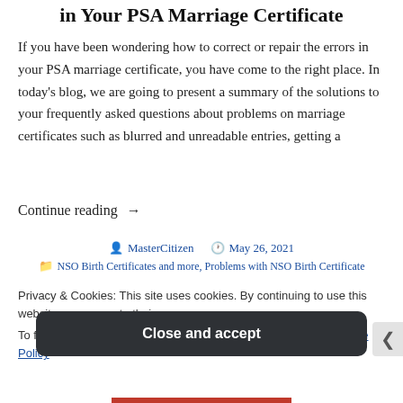in Your PSA Marriage Certificate
If you have been wondering how to correct or repair the errors in your PSA marriage certificate, you have come to the right place. In today's blog, we are going to present a summary of the solutions to your frequently asked questions about problems on marriage certificates such as blurred and unreadable entries, getting a
Continue reading →
MasterCitizen  May 26, 2021
NSO Birth Certificates and more, Problems with NSO Birth Certificate
Privacy & Cookies: This site uses cookies. By continuing to use this website, you agree to their use.
To find out more, including how to control cookies, see here: Cookie Policy
Close and accept